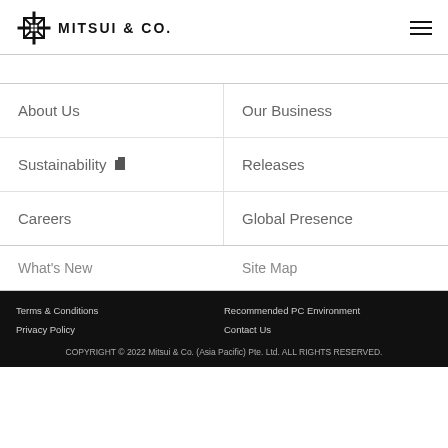MITSUI & CO.
About Us
Our Business
Sustainability
Releases
Careers
Global Presence
What's New
Site Map
Terms & Conditions | Recommended PC Environment | Privacy Policy | Contact Us | COPYRIGHT © 2022 Mitsui & Co. (Asia Pacific) Pte. Ltd. ALL RIGHTS RESERVED.